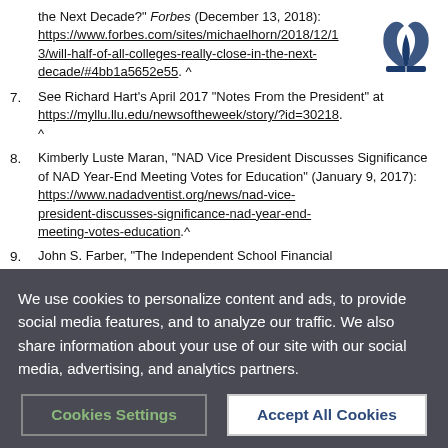[Figure (logo): Seventh-day Adventist Church flame logo, dark blue]
6. (continued) the Next Decade? Forbes (December 13, 2018): https://www.forbes.com/sites/michaelhorn/2018/12/13/will-half-of-all-colleges-really-close-in-the-next-decade/#4bb1a5652e55. ^
7. See Richard Hart's April 2017 "Notes From the President" at https://myllu.llu.edu/newsoftheweek/story/?id=30218. ^
8. Kimberly Luste Maran, "NAD Vice President Discusses Significance of NAD Year-End Meeting Votes for Education" (January 9, 2017): https://www.nadadventist.org/news/nad-vice-president-discusses-significance-nad-year-end-meeting-votes-education.^
9. John S. Farber, "The Independent School Financial Model Is Broken: Here's How We Fix It." Independent...
We use cookies to personalize content and ads, to provide social media features, and to analyze our traffic. We also share information about your use of our site with our social media, advertising, and analytics partners.
Cookies Settings | Accept All Cookies